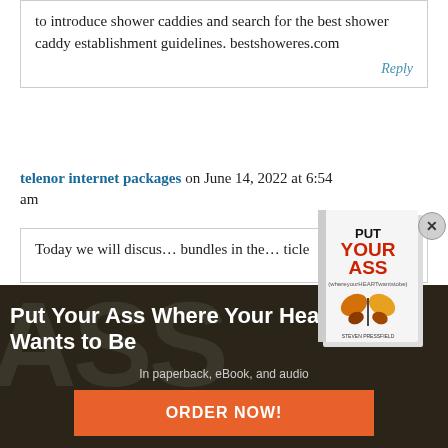to introduce shower caddies and search for the best shower caddy establishment guidelines. bestshoweres.com
Reply
telenor internet packages on June 14, 2022 at 6:54 am
Today we will discus… bundles in the… ticle
[Figure (illustration): Book cover popup showing 'Put Your Ass (Where Your Heart Wants to Be)' with butterfly illustration, with a close X button]
Put Your Ass Where Your Heart Wants to Be
In paperback, eBook, and audio
ORDER NOW!